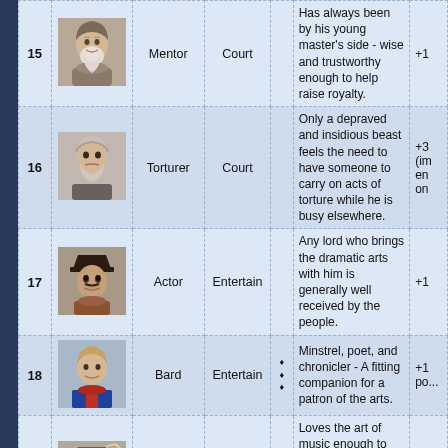| # | Image | Name | Category | Icons | Description | Bonus |
| --- | --- | --- | --- | --- | --- | --- |
| 15 | [portrait] | Mentor | Court |  | Has always been by his young master's side - wise and trustworthy enough to help raise royalty. | +1 |
| 16 | [portrait] | Torturer | Court |  | Only a depraved and insidious beast feels the need to have someone to carry on acts of torture while he is busy elsewhere. | +3 (im... en... on...) |
| 17 | [portrait] | Actor | Entertain |  | Any lord who brings the dramatic arts with him is generally well received by the people. | +1 |
| 18 | [portrait] | Bard | Entertain | ♦♦♦ | Minstrel, poet, and chronicler - A fitting companion for a patron of the arts. | +1 po... |
| 19 | [portrait] | Musician | Entertain |  | Loves the art of music enough to make sure that he can bring it with him, or at least those than can make it. | +1 po... |
| 20 | [portrait] | Mother-in-Law | Family |  | Marrying the daughter of a vile malcontent is a move that this man often rues. | -1 |